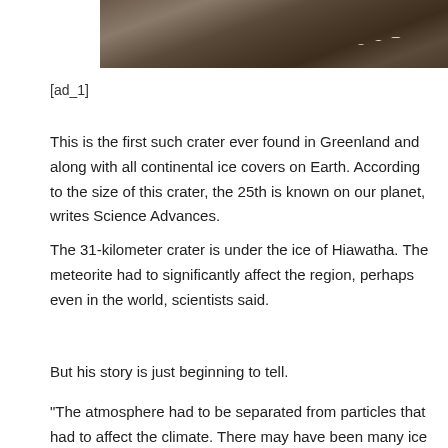[Figure (photo): Photograph of rocky terrain with patches of snow or ice, dark brown and grey rocks visible]
[ad_1]
This is the first such crater ever found in Greenland and along with all continental ice covers on Earth. According to the size of this crater, the 25th is known on our planet, writes Science Advances.
The 31-kilometer crater is under the ice of Hiawatha. The meteorite had to significantly affect the region, perhaps even in the world, scientists said.
But his story is just beginning to tell.
"The atmosphere had to be separated from particles that had to affect the climate. There may have been many ice breaks and a lot of fresh water has affected the Ners Strait between Canada and Greenland that has affected ocean currents all over the region."